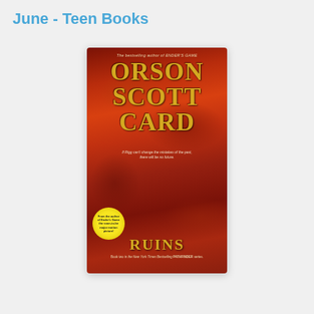June - Teen Books
[Figure (illustration): Book cover of 'Ruins' by Orson Scott Card. Red rocky background with dramatic lighting. Large gold text reads 'ORSON SCOTT CARD' at top. Tagline: 'If Rigg can't change the mistakes of the past, there will be no future.' A glowing sword/weapon in the center. Yellow circular badge bottom-left reads 'From the author of Ender's Game, the soon-to-be major motion picture.' Bottom reads 'RUINS' in gold. Subtitle: 'Book two in the New York Times Bestselling PATHFINDER series.']